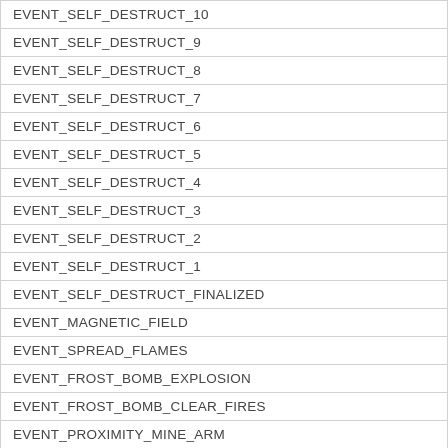| EVENT_SELF_DESTRUCT_10 |
| EVENT_SELF_DESTRUCT_9 |
| EVENT_SELF_DESTRUCT_8 |
| EVENT_SELF_DESTRUCT_7 |
| EVENT_SELF_DESTRUCT_6 |
| EVENT_SELF_DESTRUCT_5 |
| EVENT_SELF_DESTRUCT_4 |
| EVENT_SELF_DESTRUCT_3 |
| EVENT_SELF_DESTRUCT_2 |
| EVENT_SELF_DESTRUCT_1 |
| EVENT_SELF_DESTRUCT_FINALIZED |
| EVENT_MAGNETIC_FIELD |
| EVENT_SPREAD_FLAMES |
| EVENT_FROST_BOMB_EXPLOSION |
| EVENT_FROST_BOMB_CLEAR_FIRES |
| EVENT_PROXIMITY_MINE_ARM |